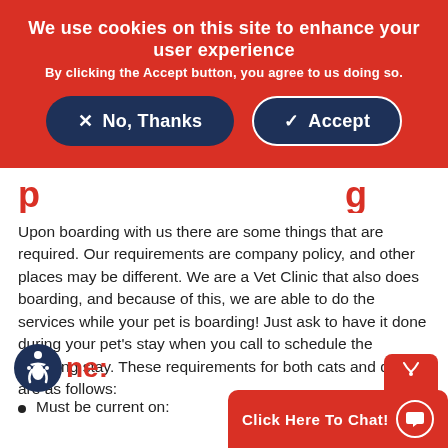We use cookies on this site to enhance your user experience
By clicking the Accept button, you agree to us doing so.
✕ No, Thanks   ✓ Accept
p...g
Upon boarding with us there are some things that are required. Our requirements are company policy, and other places may be different. We are a Vet Clinic that also does boarding, and because of this, we are able to do the services while your pet is boarding! Just ask to have it done during your pet's stay when you call to schedule the boarding stay. These requirements for both cats and dogs are as follows:
ne:
Must be current on:
Click Here To Chat!